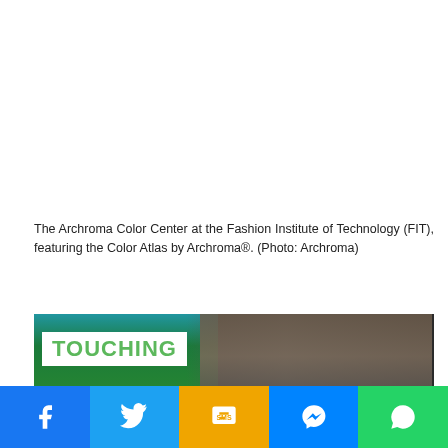The Archroma Color Center at the Fashion Institute of Technology (FIT), featuring the Color Atlas by Archroma®. (Photo: Archroma)
[Figure (photo): Photo of people gathered around a table at an Archroma event, with a green screen showing the word 'TOUCHING' on the left side.]
[Figure (infographic): Social media sharing bar with Facebook, Twitter, SMS, Messenger, and WhatsApp buttons.]